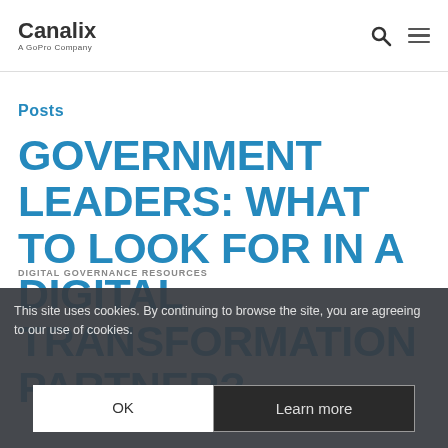Canalix — A GoPro Company
Posts
GOVERNMENT LEADERS: WHAT TO LOOK FOR IN A DIGITAL TRANSFORMATION PARTNER?
This site uses cookies. By continuing to browse the site, you are agreeing to our use of cookies.
OK | Learn more
DIGITAL GOVERNANCE RESOURCES